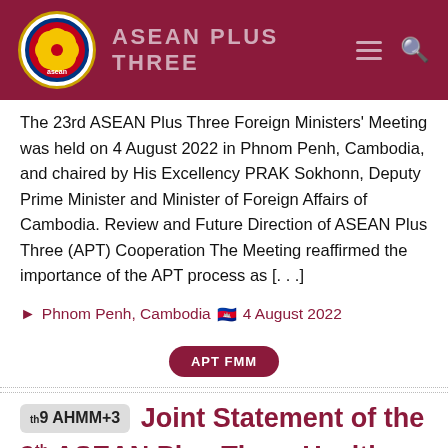ASEAN PLUS THREE
The 23rd ASEAN Plus Three Foreign Ministers' Meeting was held on 4 August 2022 in Phnom Penh, Cambodia, and chaired by His Excellency PRAK Sokhonn, Deputy Prime Minister and Minister of Foreign Affairs of Cambodia. Review and Future Direction of ASEAN Plus Three (APT) Cooperation The Meeting reaffirmed the importance of the APT process as [...]
▶ Phnom Penh, Cambodia 🇰🇭 4 August 2022
APT FMM
9th AHMM+3  Joint Statement of the 9th ASEAN Plus Three Health Ministers Meeting